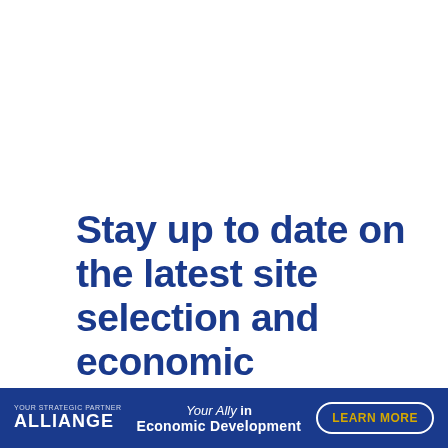Stay up to date on the latest site selection and economic development news and information
[Figure (logo): Alliance logo with tagline 'Your Ally in Economic Development' and 'LEARN MORE' button on dark blue banner]
X (close button)